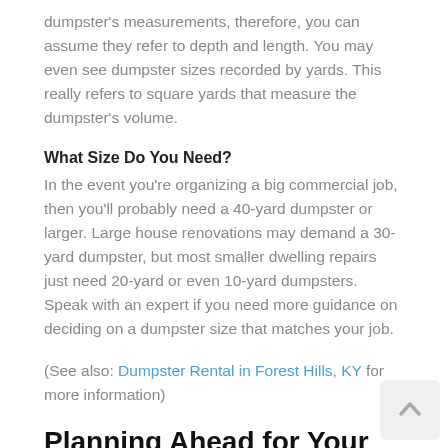dumpster's measurements, therefore, you can assume they refer to depth and length. You may even see dumpster sizes recorded by yards. This really refers to square yards that measure the dumpster's volume.
What Size Do You Need?
In the event you're organizing a big commercial job, then you'll probably need a 40-yard dumpster or larger. Large house renovations may demand a 30-yard dumpster, but most smaller dwelling repairs just need 20-yard or even 10-yard dumpsters. Speak with an expert if you need more guidance on deciding on a dumpster size that matches your job.
(See also: Dumpster Rental in Forest Hills, KY for more information)
Planning Ahead for Your Dumpster Rental in Forest Hills